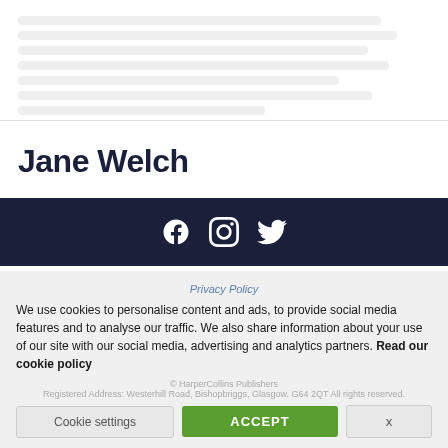[Figure (other): Blurred/redacted text block at top of page, appears to be book or article excerpt with multiple lines of obscured text]
Jane Welch
[Figure (other): Dark navy footer bar with three social media icons: Facebook, Instagram, Twitter (in white)]
Privacy Policy
We use cookies to personalise content and ads, to provide social media features and to analyse our traffic. We also share information about your use of our site with our social media, advertising and analytics partners. Read our cookie policy
© HarperCollins Publishers
Registered Address: Westerhill Road, Bishopbriggs, Glasgow. G64 2QT All rights reserved.
Cookie settings
ACCEPT
x